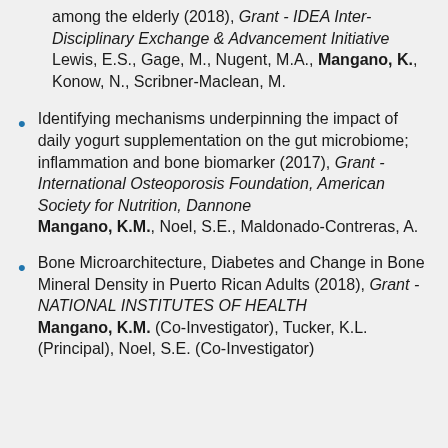among the elderly (2018), Grant - IDEA Inter-Disciplinary Exchange & Advancement Initiative
Lewis, E.S., Gage, M., Nugent, M.A., Mangano, K., Konow, N., Scribner-Maclean, M.
Identifying mechanisms underpinning the impact of daily yogurt supplementation on the gut microbiome; inflammation and bone biomarker (2017), Grant - International Osteoporosis Foundation, American Society for Nutrition, Dannone
Mangano, K.M., Noel, S.E., Maldonado-Contreras, A.
Bone Microarchitecture, Diabetes and Change in Bone Mineral Density in Puerto Rican Adults (2018), Grant - NATIONAL INSTITUTES OF HEALTH
Mangano, K.M. (Co-Investigator), Tucker, K.L. (Principal), Noel, S.E. (Co-Investigator)